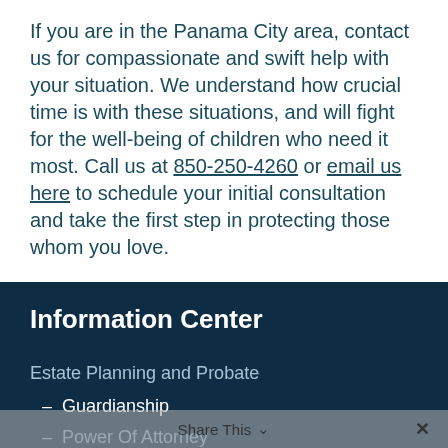If you are in the Panama City area, contact us for compassionate and swift help with your situation. We understand how crucial time is with these situations, and will fight for the well-being of children who need it most. Call us at 850-250-4260 or email us here to schedule your initial consultation and take the first step in protecting those whom you love.
Information Center
Estate Planning and Probate
– Guardianship
– Power Of Attorney
Share This ∨  ✕